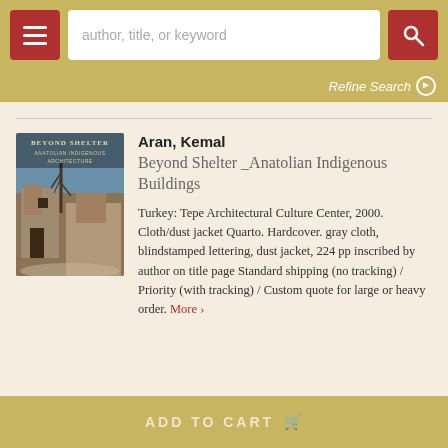[Figure (screenshot): Navigation bar with hamburger menu, search input reading 'author, title, or keyword', and search button]
Refine Search ▶
[Figure (photo): Book cover of 'Beyond Shelter: Anatolian Indigenous Buildings' showing stone buildings and a bare tree]
Aran, Kemal
Beyond Shelter _Anatolian Indigenous Buildings
Turkey: Tepe Architectural Culture Center, 2000. Cloth/dust jacket Quarto. Hardcover. gray cloth, blindstamped lettering, dust jacket, 224 pp inscribed by author on title page Standard shipping (no tracking) / Priority (with tracking) / Custom quote for large or heavy order. More ›
ADD TO CART